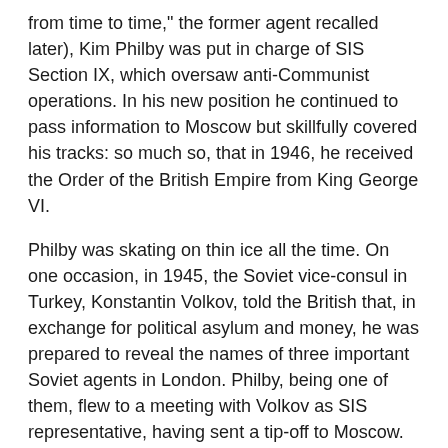from time to time," the former agent recalled later), Kim Philby was put in charge of SIS Section IX, which oversaw anti-Communist operations. In his new position he continued to pass information to Moscow but skillfully covered his tracks: so much so, that in 1946, he received the Order of the British Empire from King George VI.
Philby was skating on thin ice all the time. On one occasion, in 1945, the Soviet vice-consul in Turkey, Konstantin Volkov, told the British that, in exchange for political asylum and money, he was prepared to reveal the names of three important Soviet agents in London. Philby, being one of them, flew to a meeting with Volkov as SIS representative, having sent a tip-off to Moscow. Volkov was arrested, with Philby telling his SIS bosses that the meeting must have been a provocation.
In 1951, the clouds were gathering over Philby again, following the escape to Moscow of two Soviet spies who had been recruited on his recommendation–Donald Maclean and